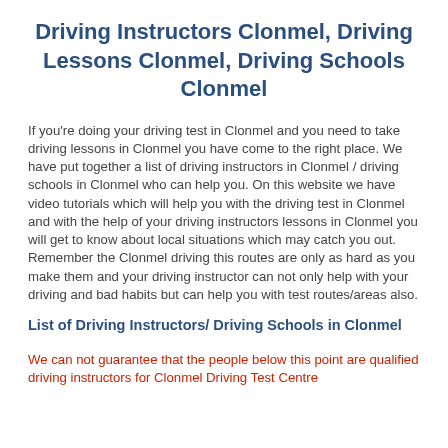Driving Instructors Clonmel, Driving Lessons Clonmel, Driving Schools Clonmel
If you're doing your driving test in Clonmel and you need to take driving lessons in Clonmel you have come to the right place. We have put together a list of driving instructors in Clonmel / driving schools in Clonmel who can help you. On this website we have video tutorials which will help you with the driving test in Clonmel and with the help of your driving instructors lessons in Clonmel you will get to know about local situations which may catch you out. Remember the Clonmel driving this routes are only as hard as you make them and your driving instructor can not only help with your driving and bad habits but can help you with test routes/areas also.
List of Driving Instructors/ Driving Schools in Clonmel
We can not guarantee that the people below this point are qualified driving instructors for Clonmel Driving Test Centre